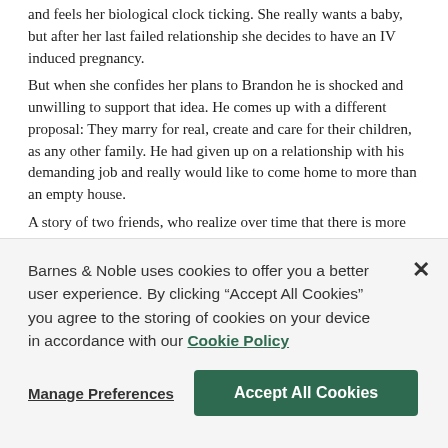and feels her biological clock ticking. She really wants a baby, but after her last failed relationship she decides to have an IV induced pregnancy.
But when she confides her plans to Brandon he is shocked and unwilling to support that idea. He comes up with a different proposal: They marry for real, create and care for their children, as any other family. He had given up on a relationship with his demanding job and really would like to come home to more than an empty house.
A story of two friends, who realize over time that there is more to their friendship than they expected. Luckily they have the courage to follow their new-found wisdom.
I received a free copy of this book via Booksprout and am voluntarily leaving a review.
Barnes & Noble uses cookies to offer you a better user experience. By clicking "Accept All Cookies" you agree to the storing of cookies on your device in accordance with our Cookie Policy
Manage Preferences
Accept All Cookies